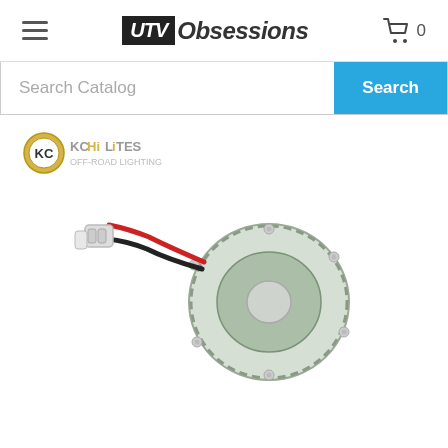UTV Obsessions — navigation header with hamburger menu and cart icon showing 0
Search Catalog
[Figure (logo): KC HiLites brand logo — circular KC badge with 'KC HiLites' text in gold and black]
[Figure (photo): KC HiLites LED replacement module — circular green/grey LED board with mounting screws and red/black wiring harness with connector plug]